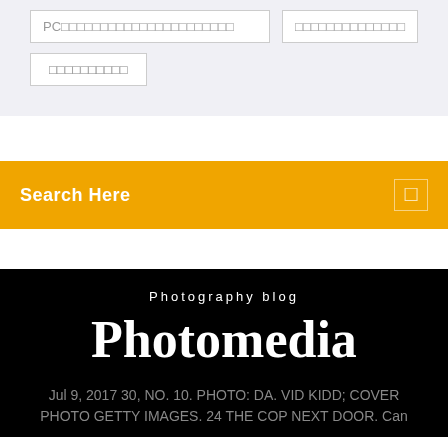PC□□□□□□□□□□□□□□□□□□□□□□
□□□□□□□□□□□□□□
□□□□□□□□□□
Search Here
Photography blog
Photomedia
Jul 9, 2017 30, NO. 10. PHOTO: DA. VID KIDD; COVER PHOTO GETTY IMAGES. 24 THE COP NEXT DOOR. Can